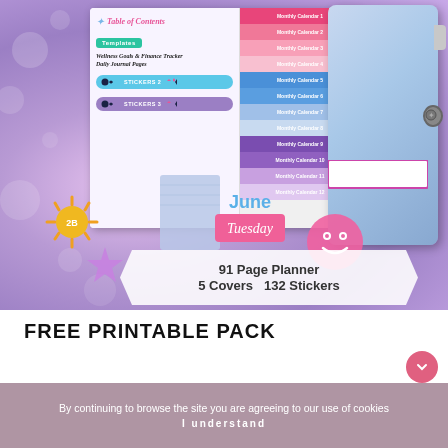[Figure (illustration): Colorful planner/journal product mockup image showing a spiral notebook with Table of Contents, monthly calendar items, stickers, and a binder cover. Purple glitter background. Bottom banner reads '91 Page Planner 5 Covers 132 Stickers'. Decorative elements include sun, star, smiley face stickers, and a 'June Tuesday' sticky note.]
FREE PRINTABLE PACK
By continuing to browse the site you are agreeing to our use of cookies
I understand